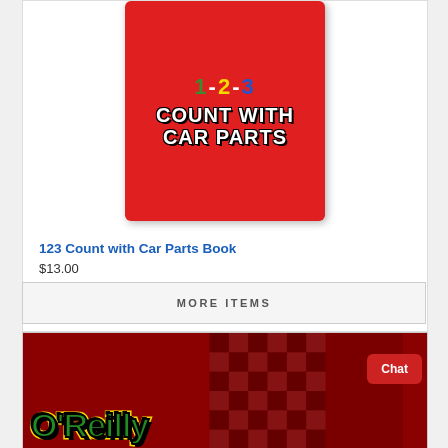[Figure (photo): Book cover for '123 Count with Car Parts' - red cover with colorful numbers 1-2-3 and white bold text 'COUNT WITH CAR PARTS' on a red background]
123 Count with Car Parts Book
$13.00
MORE ITEMS
[Figure (photo): O'Reilly Auto Parts banner/logo on a dark red racing checkered flag background with the O'Reilly logo in green with yellow outline and a red Chat button overlay]